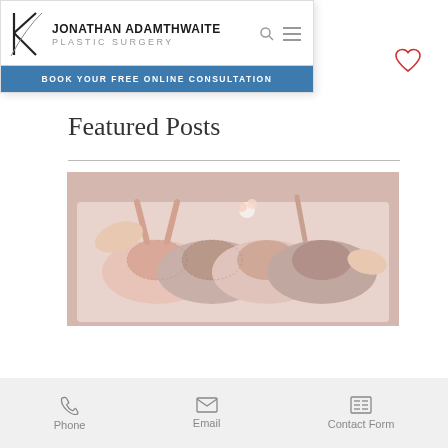JONATHAN ADAMTHWAITE PLASTIC SURGERY — BOOK YOUR FREE ONLINE CONSULTATION
Featured Posts
[Figure (photo): Hands browsing a collection of lace and satin bras in a box]
Phone | Email | Contact Form